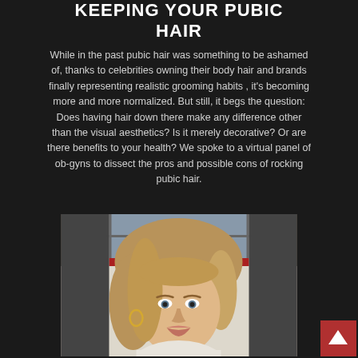KEEPING YOUR PUBIC HAIR
While in the past pubic hair was something to be ashamed of, thanks to celebrities owning their body hair and brands finally representing realistic grooming habits , it's becoming more and more normalized. But still, it begs the question: Does having hair down there make any difference other than the visual aesthetics? Is it merely decorative? Or are there benefits to your health? We spoke to a virtual panel of ob-gyns to dissect the pros and possible cons of rocking pubic hair.
[Figure (photo): Photo of a blonde woman with shoulder-length hair, wearing hoop earrings, smiling at the camera against a light background]